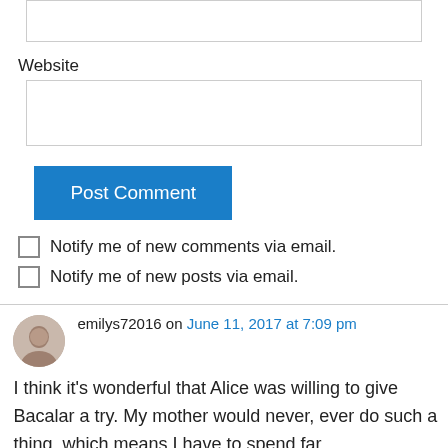Website
Post Comment
Notify me of new comments via email.
Notify me of new posts via email.
emilys72016 on June 11, 2017 at 7:09 pm
I think it’s wonderful that Alice was willing to give Bacalar a try. My mother would never, ever do such a thing, which means I have to spend far